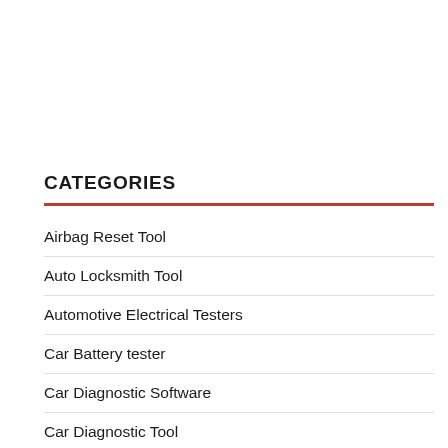CATEGORIES
Airbag Reset Tool
Auto Locksmith Tool
Automotive Electrical Testers
Car Battery tester
Car Diagnostic Software
Car Diagnostic Tool
Car Key Programmer